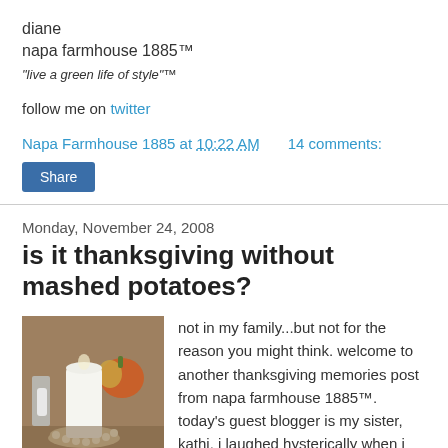diane
napa farmhouse 1885™
"live a green life of style"™
follow me on twitter
Napa Farmhouse 1885 at 10:22 AM    14 comments:
Share
Monday, November 24, 2008
is it thanksgiving without mashed potatoes?
[Figure (photo): A white pillar candle on a pearl-beaded holder on a table with fall decorations including a pumpkin and corn in the background]
not in my family...but not for the reason you might think. welcome to another thanksgiving memories post from napa farmhouse 1885™. today's guest blogger is my sister, kathi. i laughed hysterically when i first read